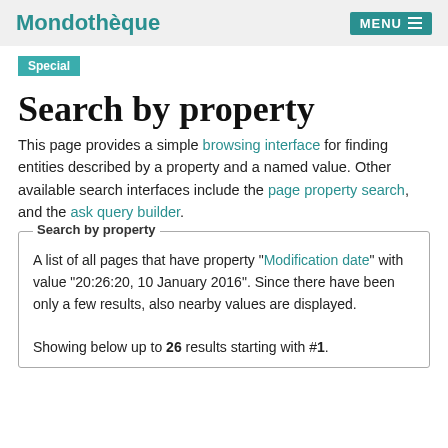Mondothèque  MENU
Special
Search by property
This page provides a simple browsing interface for finding entities described by a property and a named value. Other available search interfaces include the page property search, and the ask query builder.
Search by property
A list of all pages that have property "Modification date" with value "20:26:20, 10 January 2016". Since there have been only a few results, also nearby values are displayed.
Showing below up to 26 results starting with #1.